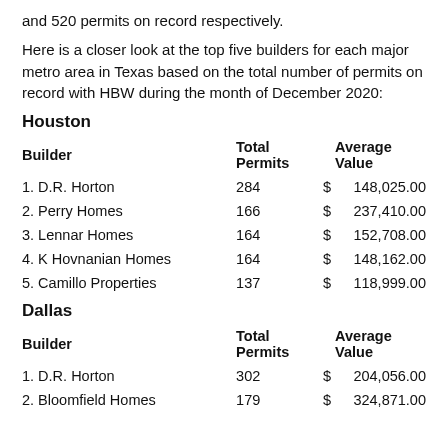and 520 permits on record respectively.
Here is a closer look at the top five builders for each major metro area in Texas based on the total number of permits on record with HBW during the month of December 2020:
Houston
| Builder | Total Permits | Average Value |
| --- | --- | --- |
| 1. D.R. Horton | 284 | $ 148,025.00 |
| 2. Perry Homes | 166 | $ 237,410.00 |
| 3. Lennar Homes | 164 | $ 152,708.00 |
| 4. K Hovnanian Homes | 164 | $ 148,162.00 |
| 5. Camillo Properties | 137 | $ 118,999.00 |
Dallas
| Builder | Total Permits | Average Value |
| --- | --- | --- |
| 1. D.R. Horton | 302 | $ 204,056.00 |
| 2. Bloomfield Homes | 179 | $ 324,871.00 |